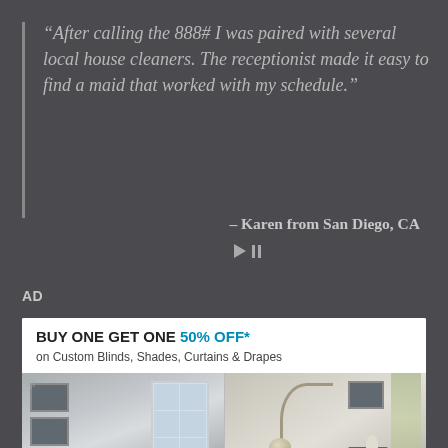“After calling the 888# I was paired with several local house cleaners. The receptionist made it easy to find a maid that worked with my schedule.”
– Karen from San Diego, CA
AD
[Figure (screenshot): Advertisement banner: BUY ONE GET ONE 50% OFF* on Custom Blinds, Shades, Curtains & Drapes, with interior room photos showing windows with blinds and curtains.]